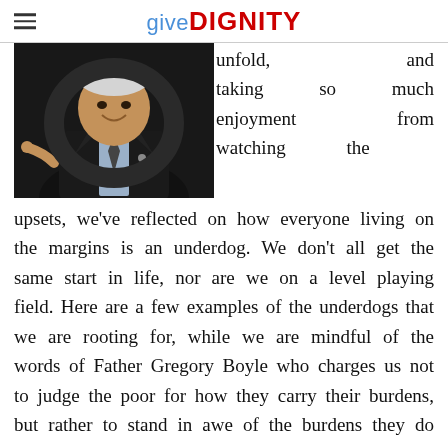give DIGNITY
[Figure (photo): A man in a dark suit smiling and pointing toward the camera against a dark background.]
unfold, and taking so much enjoyment from watching the upsets, we've reflected on how everyone living on the margins is an underdog. We don't all get the same start in life, nor are we on a level playing field. Here are a few examples of the underdogs that we are rooting for, while we are mindful of the words of Father Gregory Boyle who charges us not to judge the poor for how they carry their burdens, but rather to stand in awe of the burdens they do carry: